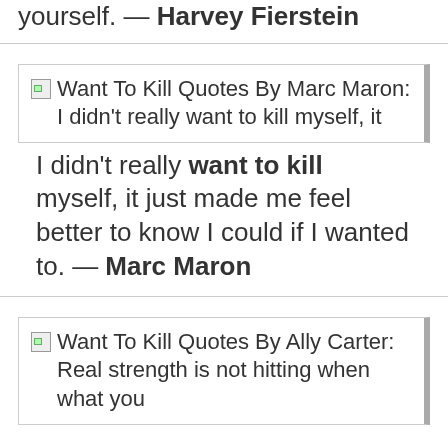yourself. — Harvey Fierstein
[Figure (screenshot): Broken image thumbnail for 'Want To Kill Quotes By Marc Maron: I didn't really want to kill myself, it']
I didn't really want to kill myself, it just made me feel better to know I could if I wanted to. — Marc Maron
[Figure (screenshot): Broken image thumbnail for 'Want To Kill Quotes By Ally Carter: Real strength is not hitting when what you']